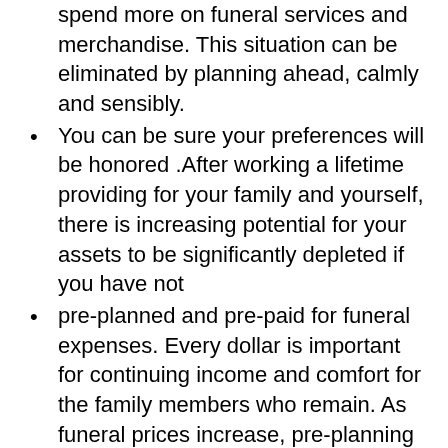spend more on funeral services and merchandise. This situation can be eliminated by planning ahead, calmly and sensibly.
You can be sure your preferences will be honored .After working a lifetime providing for your family and yourself, there is increasing potential for your assets to be significantly depleted if you have not
pre-planned and pre-paid for funeral expenses. Every dollar is important for continuing income and comfort for the family members who remain. As funeral prices increase, pre-planning protects these precious assets because the funeral expenses have been paid and, in many states, guaranteed.
Pre-arranged funeral plans can be irrevocably assigned, in many states, to pay only for funeral expenses. This benefit may assist the policyholder to qualify for Medicaid or any other form of public assistance. Should you ever need to apply, the funds